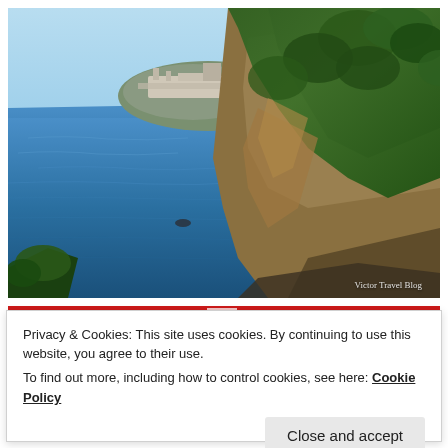[Figure (photo): Coastal landscape photo showing a rocky cliff with pine trees on the right, the deep blue Adriatic Sea in the middle, and a distant headland with a historic old town (Dubrovnik) in the background. Blue sky above. Text watermark 'Victor Travel Blog' in lower right corner.]
Privacy & Cookies: This site uses cookies. By continuing to use this website, you agree to their use.
To find out more, including how to control cookies, see here: Cookie Policy
Close and accept